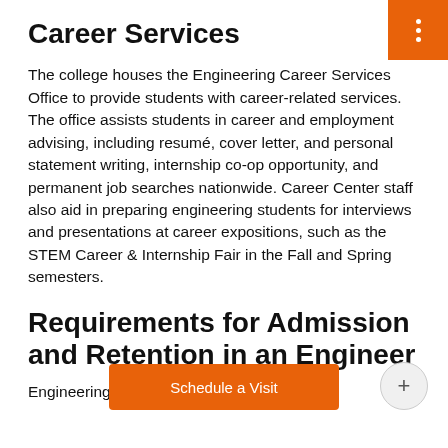Career Services
The college houses the Engineering Career Services Office to provide students with career-related services. The office assists students in career and employment advising, including resumé, cover letter, and personal statement writing, internship co-op opportunity, and permanent job searches nationwide. Career Center staff also aid in preparing engineering students for interviews and presentations at career expositions, such as the STEM Career & Internship Fair in the Fall and Spring semesters.
Requirements for Admission and Retention in an Engineering
Engineering is a demanding discipline, and